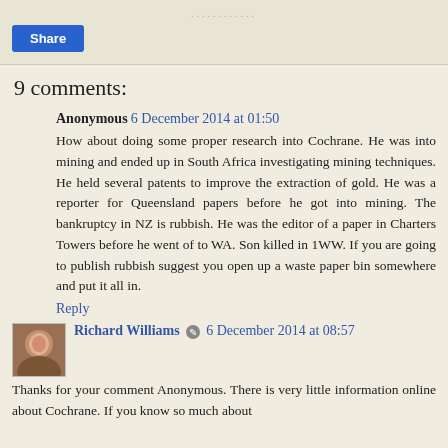[Figure (other): Share button (blue rounded rectangle with white text 'Share')]
9 comments:
Anonymous 6 December 2014 at 01:50
How about doing some proper research into Cochrane. He was into mining and ended up in South Africa investigating mining techniques. He held several patents to improve the extraction of gold. He was a reporter for Queensland papers before he got into mining. The bankruptcy in NZ is rubbish. He was the editor of a paper in Charters Towers before he went of to WA. Son killed in 1WW. If you are going to publish rubbish suggest you open up a waste paper bin somewhere and put it all in.
Reply
Richard Williams 6 December 2014 at 08:57
Thanks for your comment Anonymous. There is very little information online about Cochrane. If you know so much about